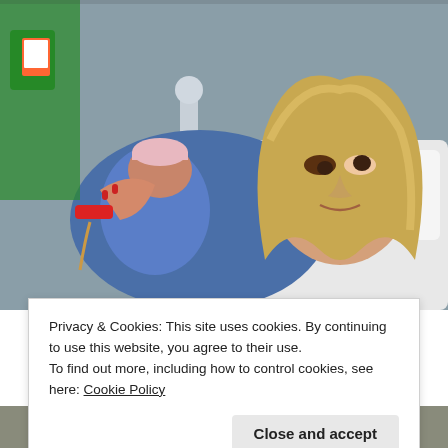[Figure (photo): A woman lying in a hospital bed holding a newborn baby wrapped in a blue cloth with a pink striped hat. The woman has curly blonde hair and is smiling. A healthcare worker in green scrubs with a badge is visible in the background. The woman has a red hospital ID bracelet and an IV line on her wrist.]
Privacy & Cookies: This site uses cookies. By continuing to use this website, you agree to their use.
To find out more, including how to control cookies, see here: Cookie Policy
[Figure (photo): Bottom strip of another photo visible at the very bottom of the page.]